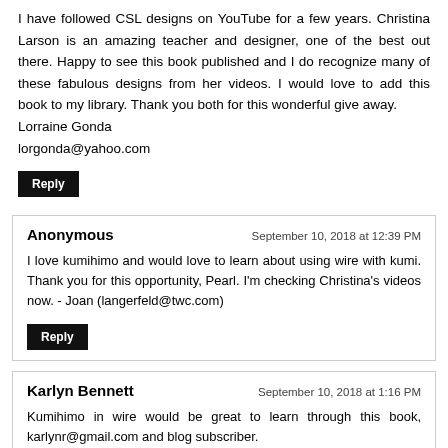I have followed CSL designs on YouTube for a few years. Christina Larson is an amazing teacher and designer, one of the best out there. Happy to see this book published and I do recognize many of these fabulous designs from her videos. I would love to add this book to my library. Thank you both for this wonderful give away.
Lorraine Gonda
lorgonda@yahoo.com
Reply
Anonymous
September 10, 2018 at 12:39 PM
I love kumihimo and would love to learn about using wire with kumi. Thank you for this opportunity, Pearl. I'm checking Christina's videos now. - Joan (langerfeld@twc.com)
Reply
Karlyn Bennett
September 10, 2018 at 1:16 PM
Kumihimo in wire would be great to learn through this book, karlynr@gmail.com and blog subscriber.